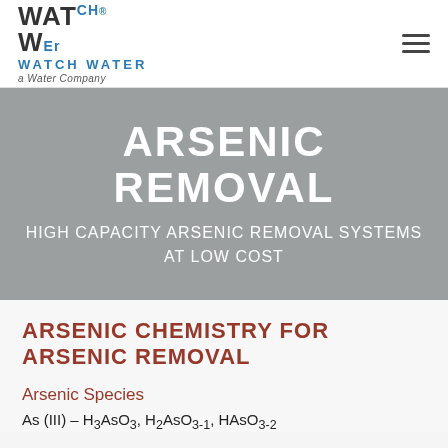Watch Water — a Water Company
ARSENIC REMOVAL
HIGH CAPACITY ARSENIC REMOVAL SYSTEMS AT LOW COST
ARSENIC CHEMISTRY FOR ARSENIC REMOVAL
Arsenic Species